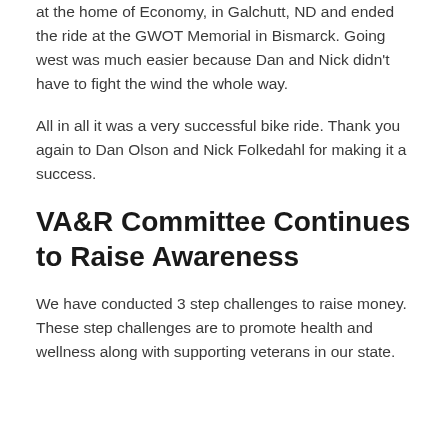at the home of Economy, in Galchutt, ND and ended the ride at the GWOT Memorial in Bismarck. Going west was much easier because Dan and Nick didn't have to fight the wind the whole way.
All in all it was a very successful bike ride. Thank you again to Dan Olson and Nick Folkedahl for making it a success.
VA&R Committee Continues to Raise Awareness
We have conducted 3 step challenges to raise money. These step challenges are to promote health and wellness along with supporting veterans in our state.